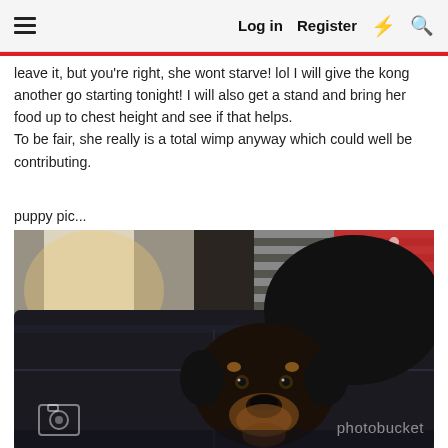Log in  Register
leave it, but you're right, she wont starve! lol I will give the kong another go starting tonight! I will also get a stand and bring her food up to chest height and see if that helps.
To be fair, she really is a total wimp anyway which could well be contributing.
puppy pic...
[Figure (photo): A black Rottweiler puppy resting on a dark leather sofa, looking at the camera. In the background there is a striped blanket and a red polka-dot item. A Photobucket watermark is visible at the bottom.]